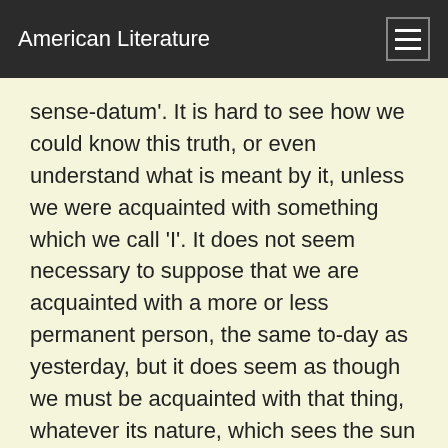American Literature
sense-datum'. It is hard to see how we could know this truth, or even understand what is meant by it, unless we were acquainted with something which we call 'I'. It does not seem necessary to suppose that we are acquainted with a more or less permanent person, the same to-day as yesterday, but it does seem as though we must be acquainted with that thing, whatever its nature, which sees the sun and has acquaintance with sense-data. Thus, in some sense it would seem we must be acquainted with our Selves as opposed to our particular experiences. But the question is difficult, and complicated arguments can be adduced on either